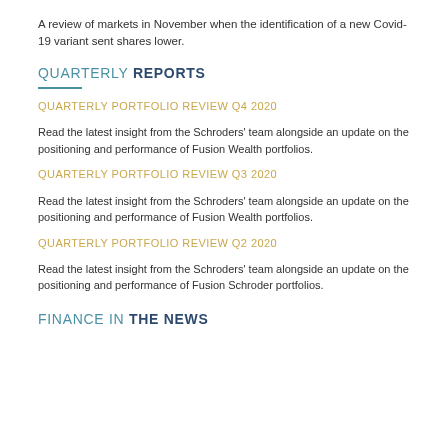A review of markets in November when the identification of a new Covid-19 variant sent shares lower.
QUARTERLY REPORTS
QUARTERLY PORTFOLIO REVIEW Q4 2020
Read the latest insight from the Schroders’ team alongside an update on the positioning and performance of Fusion Wealth portfolios.
QUARTERLY PORTFOLIO REVIEW Q3 2020
Read the latest insight from the Schroders’ team alongside an update on the positioning and performance of Fusion Wealth portfolios.
QUARTERLY PORTFOLIO REVIEW Q2 2020
Read the latest insight from the Schroders’ team alongside an update on the positioning and performance of Fusion Schroder portfolios.
FINANCE IN THE NEWS